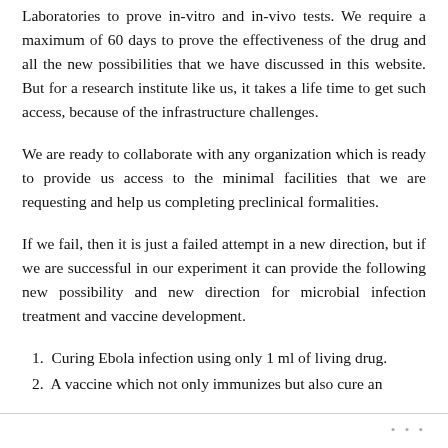Laboratories to prove in-vitro and in-vivo tests. We require a maximum of 60 days to prove the effectiveness of the drug and all the new possibilities that we have discussed in this website. But for a research institute like us, it takes a life time to get such access, because of the infrastructure challenges.
We are ready to collaborate with any organization which is ready to provide us access to the minimal facilities that we are requesting and help us completing preclinical formalities.
If we fail, then it is just a failed attempt in a new direction, but if we are successful in our experiment it can provide the following new possibility and new direction for microbial infection treatment and vaccine development.
1. Curing Ebola infection using only 1 ml of living drug.
2. A vaccine which not only immunizes but also cure an